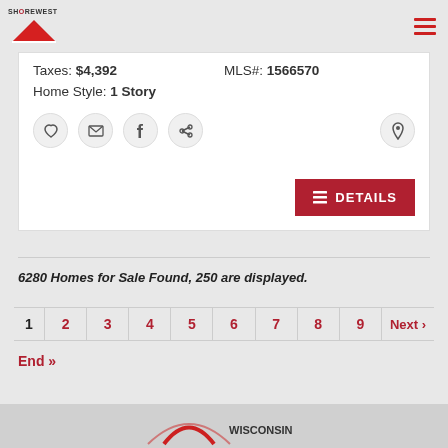Shorewest
Taxes: $4,392   MLS#: 1566570
Home Style: 1 Story
6280 Homes for Sale Found, 250 are displayed.
1  2  3  4  5  6  7  8  9  Next »
End »